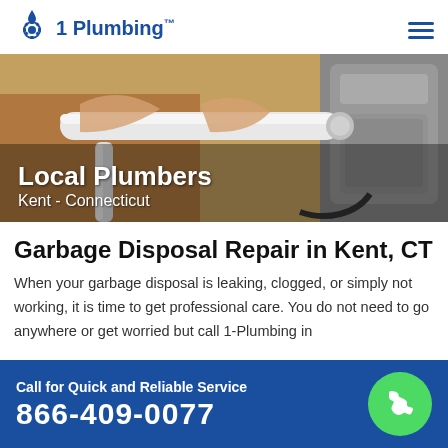1 Plumbing
[Figure (photo): Hands holding a white PVC pipe near a garbage disposal unit under a sink, with text overlay 'Local Plumbers Kent - Connecticut']
Garbage Disposal Repair in Kent, CT
When your garbage disposal is leaking, clogged, or simply not working, it is time to get professional care. You do not need to go anywhere or get worried but call 1-Plumbing in
Call for Quick and Reliable Service
866-409-0077